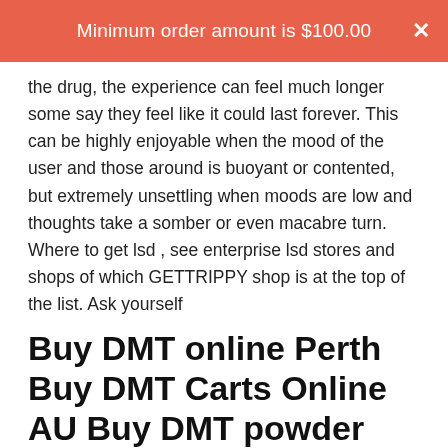Minimum order amount is $100.00
the drug, the experience can feel much longer some say they feel like it could last forever. This can be highly enjoyable when the mood of the user and those around is buoyant or contented, but extremely unsettling when moods are low and thoughts take a somber or even macabre turn.
Where to get lsd , see enterprise lsd stores and shops of which GETTRIPPY shop is at the top of the list. Ask yourself
Buy DMT online Perth Buy DMT Carts Online AU Buy DMT powder Online Hobart Buy Ketamine online Cairns Buy MDMA Pills in Alice Springs Buy LSD online Launceston, Melbourne, Adelaide, NSW,